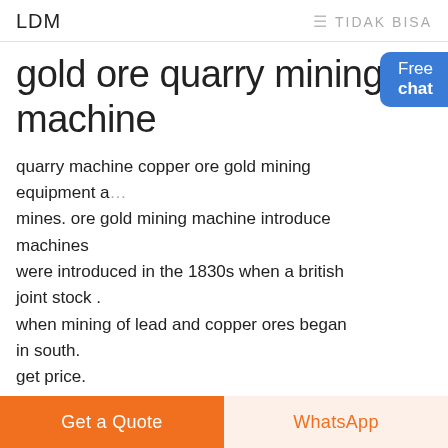LDM   ≡ TIDAK BISA
gold ore quarry mining machine
quarry machine copper ore gold mining equipment and mines. ore gold mining machine introduce machines were introduced in the 1830s when a british joint stock . when mining of lead and copper ores began in south. get price.
[Figure (photo): Photo of a quarry mine site with rocky terrain]
[Figure (photo): Small middle thumbnail of mining area]
[Figure (photo): Photo of industrial mining machinery/structure]